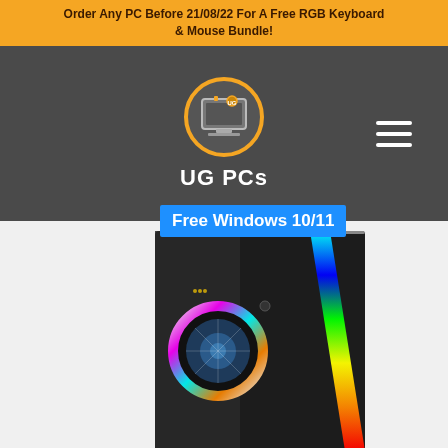Order Any PC Before 21/08/22 For A Free RGB Keyboard & Mouse Bundle!
[Figure (logo): UG PCs logo: orange circle border with monitor icon inside, white text 'UG PCs' below, hamburger menu icon to the right, all on a dark grey background]
Free Windows 10/11
[Figure (photo): Gaming PC tower case with RGB lighting strip on the front panel in rainbow colors, RGB fan visible through tempered glass side panel, black finish, photographed on white background]